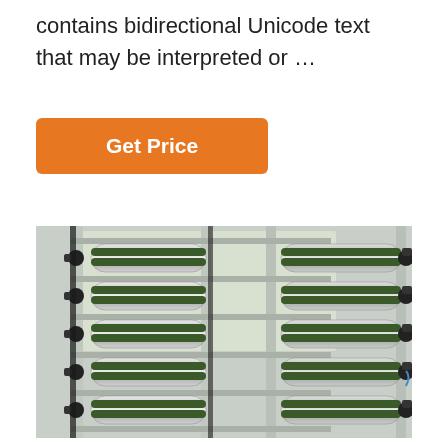contains bidirectional Unicode text that may be interpreted or …
[Figure (other): Orange 'Get Price' button]
[Figure (photo): Industrial reverse osmosis water purification system with multiple stainless steel membrane housings arranged in rows on a metal frame, with black pipe fittings and connectors visible on both sides]